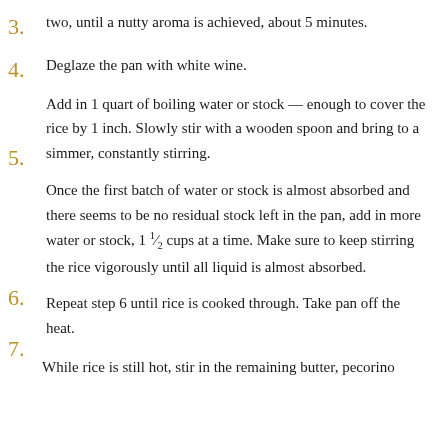3. two, until a nutty aroma is achieved, about 5 minutes.
4. Deglaze the pan with white wine.
5. Add in 1 quart of boiling water or stock — enough to cover the rice by 1 inch. Slowly stir with a wooden spoon and bring to a simmer, constantly stirring.
6. Once the first batch of water or stock is almost absorbed and there seems to be no residual stock left in the pan, add in more water or stock, 1 ½ cups at a time. Make sure to keep stirring the rice vigorously until all liquid is almost absorbed.
7. Repeat step 6 until rice is cooked through. Take pan off the heat.
While rice is still hot, stir in the remaining butter, pecorino